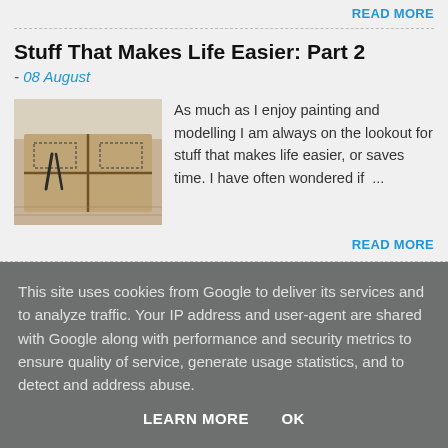READ MORE
Stuff That Makes Life Easier: Part 2
- 08 August
[Figure (photo): A photo of a wooden or cardboard crafting template/stencil with cut-out shapes and marks, placed on a light background.]
As much as I enjoy painting and modelling I am always on the lookout for stuff that makes life easier, or saves time. I have often wondered if ...
READ MORE
This site uses cookies from Google to deliver its services and to analyze traffic. Your IP address and user-agent are shared with Google along with performance and security metrics to ensure quality of service, generate usage statistics, and to detect and address abuse.
LEARN MORE   OK